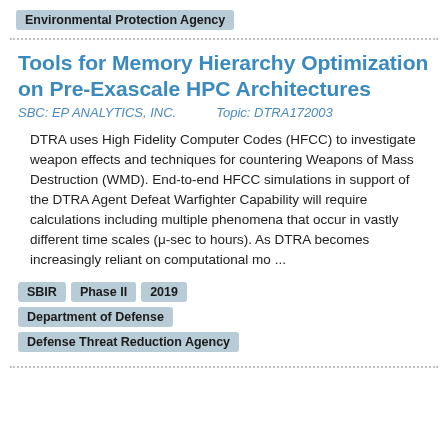Environmental Protection Agency
Tools for Memory Hierarchy Optimization on Pre-Exascale HPC Architectures
SBC: EP ANALYTICS, INC.        Topic: DTRA172003
DTRA uses High Fidelity Computer Codes (HFCC) to investigate weapon effects and techniques for countering Weapons of Mass Destruction (WMD). End-to-end HFCC simulations in support of the DTRA Agent Defeat Warfighter Capability will require calculations including multiple phenomena that occur in vastly different time scales (μ-sec to hours). As DTRA becomes increasingly reliant on computational mo ...
SBIR
Phase II
2019
Department of Defense
Defense Threat Reduction Agency